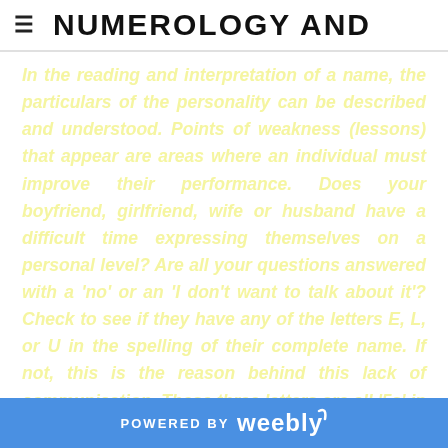≡ NUMEROLOGY AND
In the reading and interpretation of a name, the particulars of the personality can be described and understood. Points of weakness (lessons) that appear are areas where an individual must improve their performance. Does your boyfriend, girlfriend, wife or husband have a difficult time expressing themselves on a personal level? Are all your questions answered with a 'no' or an 'I don't want to talk about it'? Check to see if they have any of the letters E, L, or U in the spelling of their complete name. If not, this is the reason behind this lack of communication. These three letters are all '5s' in Numerology and the number 3 is about self-expression, words-written or spoken, creativity and other facets of
POWERED BY weebly